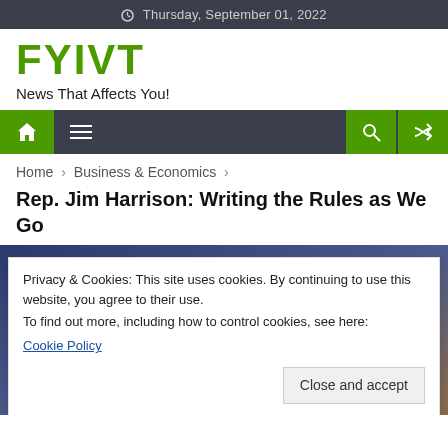Thursday, September 01, 2022
[Figure (logo): FYIVT logo in green bold text]
News That Affects You!
[Figure (screenshot): Navigation bar with home icon, hamburger menu, search and shuffle icons]
Home > Business & Economics >
Rep. Jim Harrison: Writing the Rules as We Go
[Figure (photo): Photo of a man with a cookie consent overlay dialog]
Privacy & Cookies: This site uses cookies. By continuing to use this website, you agree to their use.
To find out more, including how to control cookies, see here:
Cookie Policy
Close and accept